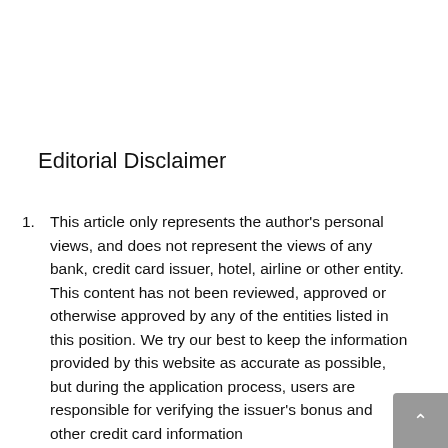Editorial Disclaimer
This article only represents the author's personal views, and does not represent the views of any bank, credit card issuer, hotel, airline or other entity. This content has not been reviewed, approved or otherwise approved by any of the entities listed in this position. We try our best to keep the information provided by this website as accurate as possible, but during the application process, users are responsible for verifying the issuer's bonus and other credit card information